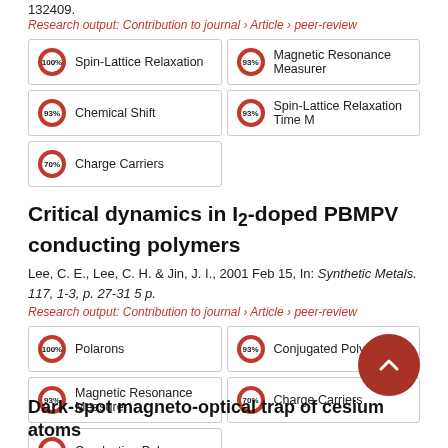132409.
Research output: Contribution to journal › Article › peer-review
100% Spin-Lattice Relaxation
93% Magnetic Resonance Measurements
93% Chemical Shift
93% Spin-Lattice Relaxation Time M
70% Charge Carriers
Critical dynamics in I₂-doped PBMPV conducting polymers
Lee, C. E., Lee, C. H. & Jin, J. I., 2001 Feb 15, In: Synthetic Metals. 117, 1-3, p. 27-31 5 p.
Research output: Contribution to journal › Article › peer-review
100% Polarons
93% Conjugated Polymers
93% Magnetic Resonance Measurements
70% Charge Carriers
70% Conducting Polymers
Dark-spot magneto-optical trap of cesium atoms